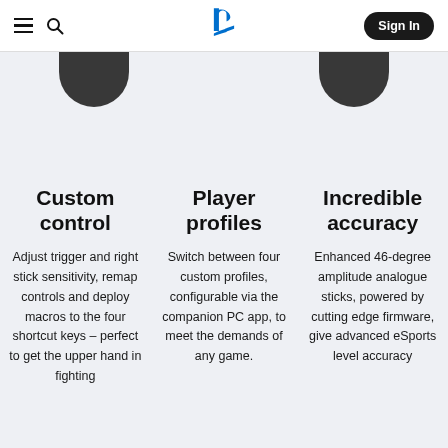PlayStation navigation bar with hamburger menu, search icon, PlayStation logo, and Sign In button
[Figure (illustration): Two dark grey PS5 DualSense Edge controller stubs (bottom halves) visible at the top, on a light grey background]
Custom control
Adjust trigger and right stick sensitivity, remap controls and deploy macros to the four shortcut keys – perfect to get the upper hand in fighting
Player profiles
Switch between four custom profiles, configurable via the companion PC app, to meet the demands of any game.
Incredible accuracy
Enhanced 46-degree amplitude analogue sticks, powered by cutting edge firmware, give advanced eSports level accuracy